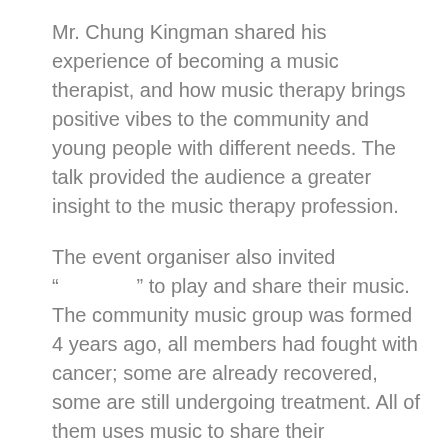Mr. Chung Kingman shared his experience of becoming a music therapist, and how music therapy brings positive vibes to the community and young people with different needs. The talk provided the audience a greater insight to the music therapy profession.
The event organiser also invited “                  ” to play and share their music. The community music group was formed 4 years ago, all members had fought with cancer; some are already recovered, some are still undergoing treatment. All of them uses music to share their experience and empower other people who are in the same boat.
Date: 29-30 September 2018
Venue: Youth Sqaure